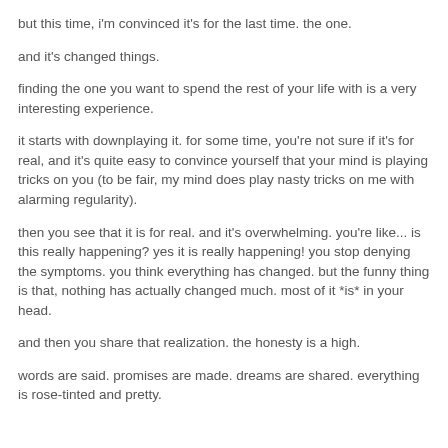but this time, i'm convinced it's for the last time. the one.
and it's changed things.
finding the one you want to spend the rest of your life with is a very interesting experience.
it starts with downplaying it. for some time, you're not sure if it's for real, and it's quite easy to convince yourself that your mind is playing tricks on you (to be fair, my mind does play nasty tricks on me with alarming regularity).
then you see that it is for real. and it's overwhelming. you're like... is this really happening? yes it is really happening! you stop denying the symptoms. you think everything has changed. but the funny thing is that, nothing has actually changed much. most of it *is* in your head.
and then you share that realization. the honesty is a high.
words are said. promises are made. dreams are shared. everything is rose-tinted and pretty.